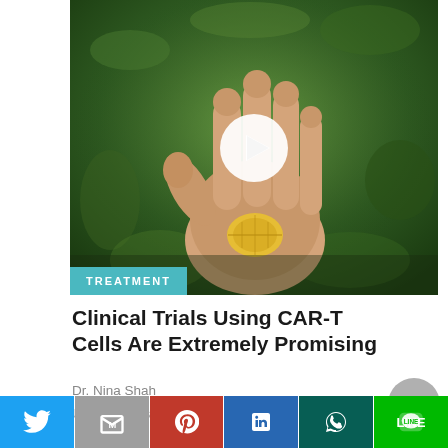[Figure (photo): A hand held open palm-up against a green grass background, holding a yellow leaf coin. A white circular play button is overlaid at center. A teal 'TREATMENT' badge appears at the lower-left of the image.]
Clinical Trials Using CAR-T Cells Are Extremely Promising
Dr. Nina Shah
UCSF Medical Center
[Figure (other): Social sharing bar with icons for Twitter, Gmail/Email, Pinterest, LinkedIn, WhatsApp, and LINE]